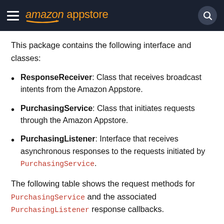amazon appstore
This package contains the following interface and classes:
ResponseReceiver: Class that receives broadcast intents from the Amazon Appstore.
PurchasingService: Class that initiates requests through the Amazon Appstore.
PurchasingListener: Interface that receives asynchronous responses to the requests initiated by PurchasingService.
The following table shows the request methods for PurchasingService and the associated PurchasingListener response callbacks.